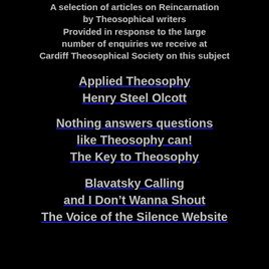A selection of articles on Reincarnation by Theosophical writers Provided in response to the large number of enquiries we receive at Cardiff Theosophical Society on this subject
Applied Theosophy Henry Steel Olcott
Nothing answers questions like Theosophy can! The Key to Theosophy
Blavatsky Calling and I Don’t Wanna Shout The Voice of the Silence Website